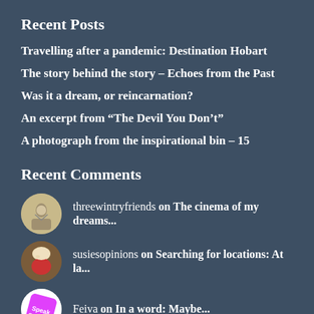Recent Posts
Travelling after a pandemic: Destination Hobart
The story behind the story – Echoes from the Past
Was it a dream, or reincarnation?
An excerpt from “The Devil You Don’t”
A photograph from the inspirational bin – 15
Recent Comments
threewintryfriends on The cinema of my dreams...
susiesopinions on Searching for locations: At la...
Feiva on In a word: Maybe...